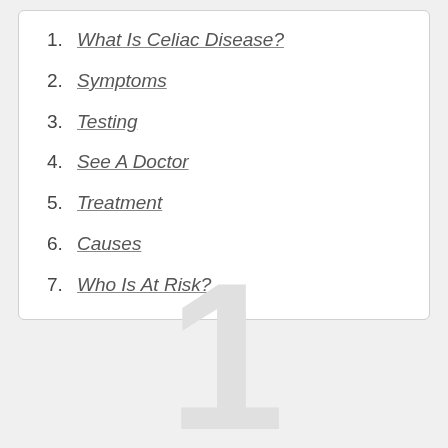1. What Is Celiac Disease?
2. Symptoms
3. Testing
4. See A Doctor
5. Treatment
6. Causes
7. Who Is At Risk?
[Figure (other): Large decorative number '1' in light gray, partially visible at the bottom of the page]